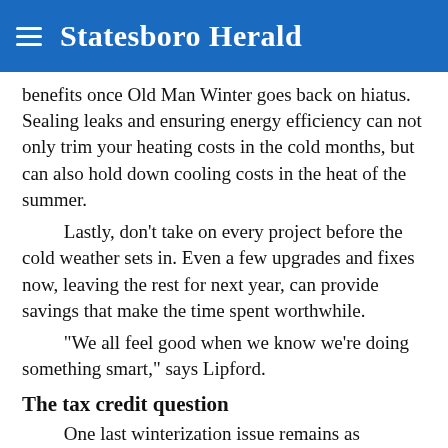Statesboro Herald
benefits once Old Man Winter goes back on hiatus. Sealing leaks and ensuring energy efficiency can not only trim your heating costs in the cold months, but can also hold down cooling costs in the heat of the summer.

Lastly, don’t take on every project before the cold weather sets in. Even a few upgrades and fixes now, leaving the rest for next year, can provide savings that make the time spent worthwhile.

“We all feel good when we know we’re doing something smart,” says Lipford.
The tax credit question
One last winterization issue remains as uncertain as the weather itself.

Until the end of 2013, home energy improvements